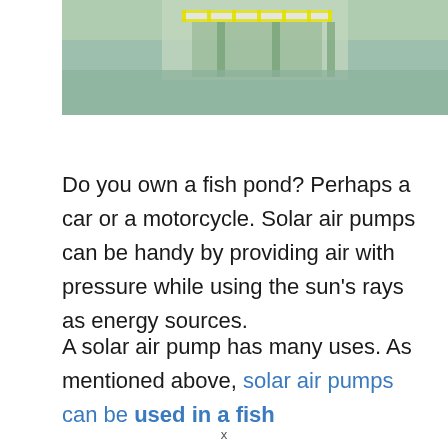[Figure (photo): Aerial or close-up photo of a solar-powered structure over water, with yellow/green railings and a greenish water surface visible below.]
Do you own a fish pond? Perhaps a car or a motorcycle. Solar air pumps can be handy by providing air with pressure while using the sun's rays as energy sources.
A solar air pump has many uses. As mentioned above, solar air pumps can be used in a fish